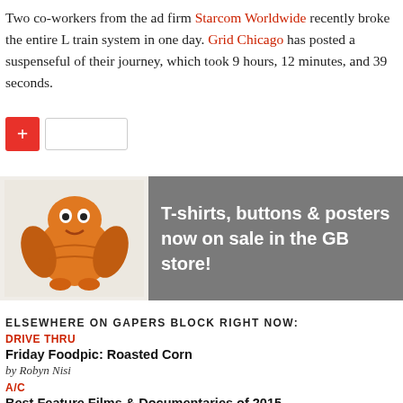Two co-workers from the ad firm Starcom Worldwide recently broke the entire L train system in one day. Grid Chicago has posted a suspenseful of their journey, which took 9 hours, 12 minutes, and 39 seconds.
[Figure (other): Social share button with red plus icon and empty input box]
[Figure (other): Advertisement banner: T-shirts, buttons & posters now on sale in the GB store! with illustrated mascot character on left and gray background with white text on right]
ELSEWHERE ON GAPERS BLOCK RIGHT NOW:
DRIVE THRU
Friday Foodpic: Roasted Corn
by Robyn Nisi
A/C
Best Feature Films & Documentaries of 2015
by Steve Prokopy
A/C
Bye Bye, Gapers Block from the A/C Team